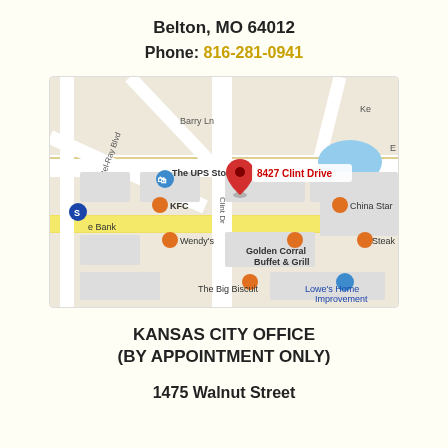Belton, MO 64012
Phone: 816-281-0941
[Figure (map): Google Maps screenshot showing the area around 8427 Clint Drive in Belton, MO 64012. Nearby landmarks include The UPS Store, KFC, Wendy's, Golden Corral Buffet & Grill, China Star, Steak 'n, The Big Biscuit, and Lowe's Home Improvement. A red map pin marks 8427 Clint Drive.]
KANSAS CITY OFFICE
(BY APPOINTMENT ONLY)
1475 Walnut Street